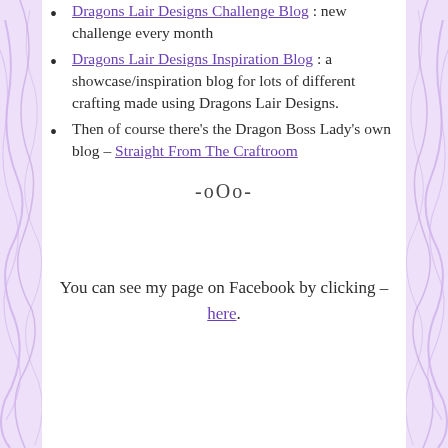Dragons Lair Designs Challenge Blog : new challenge every month
Dragons Lair Designs Inspiration Blog : a showcase/inspiration blog for lots of different crafting made using Dragons Lair Designs.
Then of course there's the Dragon Boss Lady's own blog – Straight From The Craftroom
-oOo-
You can see my page on Facebook by clicking – here.